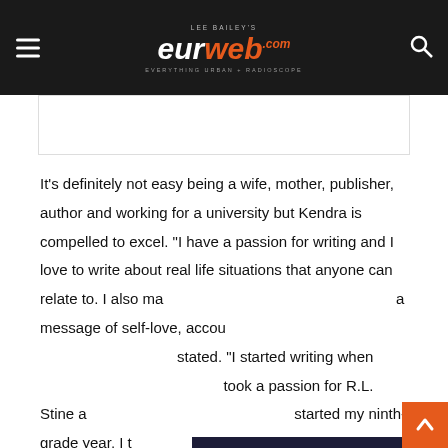Lee Bailey's eurweb.com — Everything Urban + Radioscope
It's definitely not easy being a wife, mother, publisher, author and working for a university but Kendra is compelled to excel. “I have a passion for writing and I love to write about real life situations that anyone can relate to. I also make sure that every book I write has a message of self-love, accountability, and empowerment,” she stated. “I started writing when I was in middle school, but it took a passion for R.L. Stine and I wrote my first story when I started my ninth-grade year, I then fell in love with books by authors like: Terry McMillian, Sista Souljah, Nikki Turner, Omar Tyree, Zane, and Eric Jerome Dickey. So, I started writing my first urban book in 2005, which was my senior year, I published this be
[Figure (screenshot): Video player overlay showing error message: The media could not be loaded, either because the server or network failed or because the format is not supported.]